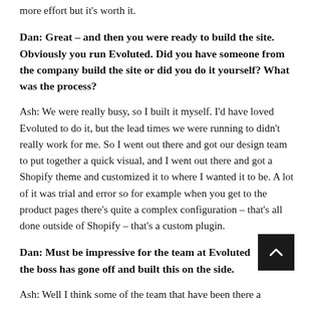more effort but it's worth it.
Dan: Great – and then you were ready to build the site. Obviously you run Evoluted. Did you have someone from the company build the site or did you do it yourself? What was the process?
Ash: We were really busy, so I built it myself. I'd have loved Evoluted to do it, but the lead times we were running to didn't really work for me. So I went out there and got our design team to put together a quick visual, and I went out there and got a Shopify theme and customized it to where I wanted it to be. A lot of it was trial and error so for example when you get to the product pages there's quite a complex configuration – that's all done outside of Shopify – that's a custom plugin.
Dan: Must be impressive for the team at Evoluted that the boss has gone off and built this on the side.
Ash: Well I think some of the team that have been there a